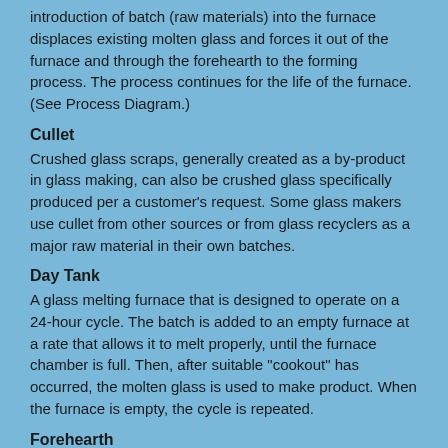introduction of batch (raw materials) into the furnace displaces existing molten glass and forces it out of the furnace and through the forehearth to the forming process. The process continues for the life of the furnace. (See Process Diagram.)
Cullet
Crushed glass scraps, generally created as a by-product in glass making, can also be crushed glass specifically produced per a customer's request. Some glass makers use cullet from other sources or from glass recyclers as a major raw material in their own batches.
Day Tank
A glass melting furnace that is designed to operate on a 24-hour cycle. The batch is added to an empty furnace at a rate that allows it to melt properly, until the furnace chamber is full. Then, after suitable "cookout" has occurred, the molten glass is used to make product. When the furnace is empty, the cycle is repeated.
Forehearth
A shallow chamber through which molten glass passes on its way from a continuous melting furnace to the forming process. The purpose of this chamber is to allow the temperature of the glass to drop from melting temperatures (about 2,700°F) to forming temperatures (about 2,200°F for 1/8" thick sheet glass). (See Process Diagram.)
Lehr
An enclosed chamber through which formed glass products are carried for the purpose of annealing.